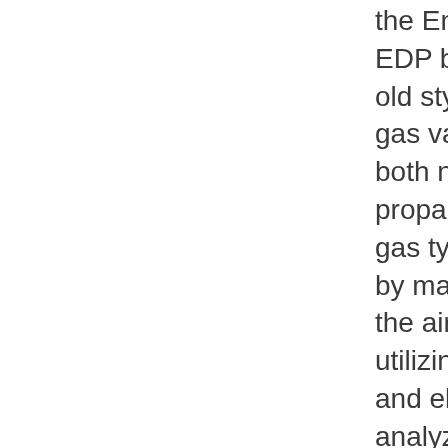the Endurance EBP and EDP boilers, new style and old style.  A combination gas valve will work with both natural gas and liquid propane gas (LP) but both gas types must be set up by making adjustments to the air and gas mixtures utilizing a dual menometer and electronic combustion analyzer.
 Parts4heating has several of these 2400-548 gas valves in stock and are ready to ship one to you today!